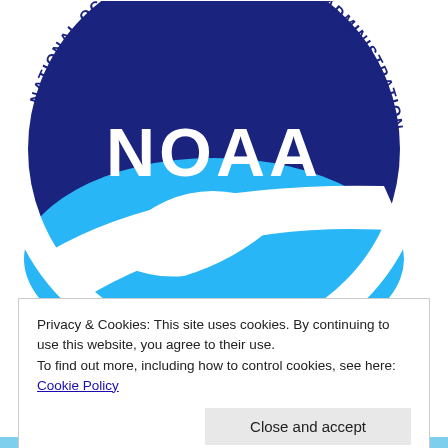[Figure (logo): NOAA (National Oceanic and Atmospheric Administration) circular logo. Dark navy blue circle with white seagull in flight and light blue ocean/sky. Around the circumference: 'NATIONAL OCEANIC AND ATMOSPHERIC ADMINISTRATION' in blue text on white background.]
Privacy & Cookies: This site uses cookies. By continuing to use this website, you agree to their use.
To find out more, including how to control cookies, see here: Cookie Policy
Close and accept